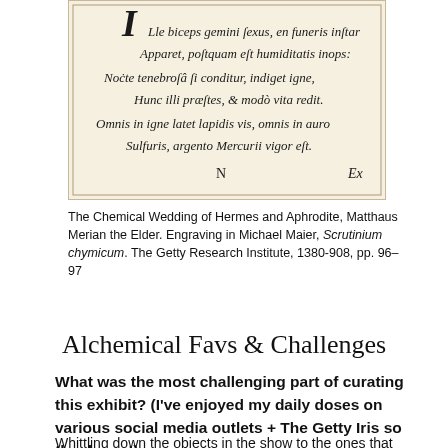[Figure (illustration): Engraving showing Latin verse text in italic blackletter font on aged parchment background. Text reads: 'ILle biceps gemini sexus, en funeris instar / Apparet, postquam est humiditatis inops: / Nocte tenebrosa si conditur, indiget igne, / Hunc illi praestes, & modo vita redit. / Omnis in igne latet lapidis vis, omnis in auro / Sulfuris, argento Mercurii vigor est.' with 'N' and 'Ex' at bottom. From Scrutinium chymicum.]
The Chemical Wedding of Hermes and Aphrodite, Matthaus Merian the Elder. Engraving in Michael Maier, Scrutinium chymicum. The Getty Research Institute, 1380-908, pp. 96–97
Alchemical Favs & Challenges
What was the most challenging part of curating this exhibit? (I've enjoyed my daily doses on various social media outlets + The Getty Iris so thank you!) —@Apocalipstixnow
Whittling down the objects in the show to the ones that